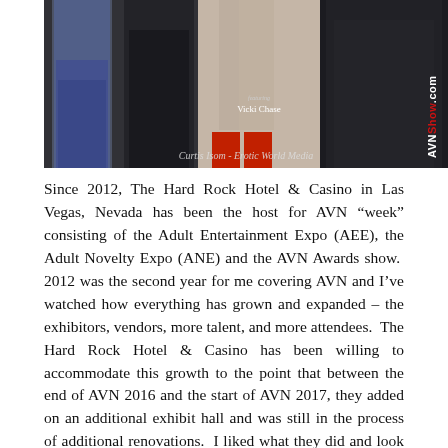[Figure (photo): Composite photo showing three panels: left panel shows a person in jeans, center panel shows legs and red high heels with text 'featuring Vicki Chase', right panel shows a dark-clothed figure. Watermarks 'AVNShow.com' and 'Curtis Isom - Erotic World Media' are overlaid.]
Since 2012, The Hard Rock Hotel & Casino in Las Vegas, Nevada has been the host for AVN “week” consisting of the Adult Entertainment Expo (AEE), the Adult Novelty Expo (ANE) and the AVN Awards show.  2012 was the second year for me covering AVN and I’ve watched how everything has grown and expanded – the exhibitors, vendors, more talent, and more attendees.  The Hard Rock Hotel & Casino has been willing to accommodate this growth to the point that between the end of AVN 2016 and the start of AVN 2017, they added on an additional exhibit hall and was still in the process of additional renovations.  I liked what they did and look forward to seeing how everything looks next year.